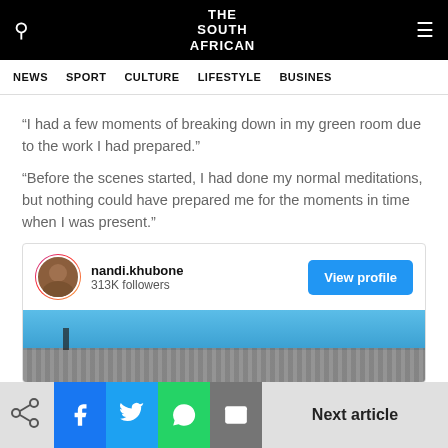THE SOUTH AFRICAN
NEWS  SPORT  CULTURE  LIFESTYLE  BUSINESS
“I had a few moments of breaking down in my green room due to the work I had prepared.”
“Before the scenes started, I had done my normal meditations, but nothing could have prepared me for the moments in time when I was present.”
[Figure (screenshot): Instagram profile embed card for nandi.khubone with 313K followers and a View profile button, below which is a cropped image of a building against blue sky]
Next article